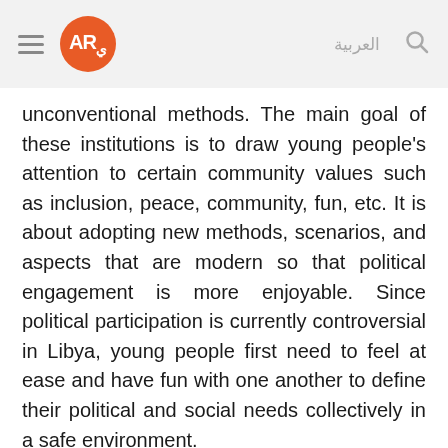AR العربية
unconventional methods. The main goal of these institutions is to draw young people’s attention to certain community values such as inclusion, peace, community, fun, etc. It is about adopting new methods, scenarios, and aspects that are modern so that political engagement is more enjoyable. Since political participation is currently controversial in Libya, young people first need to feel at ease and have fun with one another to define their political and social needs collectively in a safe environment.
What are some of the challenges to providing capacity building and